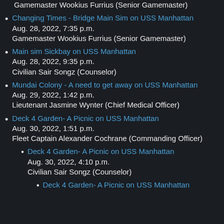Gamemaster Wookius Furrius (Senior Gamemaster)
Changing Times - Bridge Main Sim on USS Manhattan
Aug. 28, 2022, 7:35 p.m.
Gamemaster Wookius Furrius (Senior Gamemaster)
Main sim Sickbay on USS Manhattan
Aug. 28, 2022, 9:35 p.m.
Civilian Sair Songz (Counselor)
Mundai Colony - A need to get away on USS Manhattan
Aug. 29, 2022, 1:42 p.m.
Lieutenant Jasmine Wynter (Chief Medical Officer)
Deck 4 Garden- A Picnic on USS Manhattan
Aug. 30, 2022, 1:51 p.m.
Fleet Captain Alexander Cochrane (Commanding Officer)
Deck 4 Garden- A Picnic on USS Manhattan
Aug. 30, 2022, 4:10 p.m.
Civilian Sair Songz (Counselor)
Deck 4 Garden- A Picnic on USS Manhattan